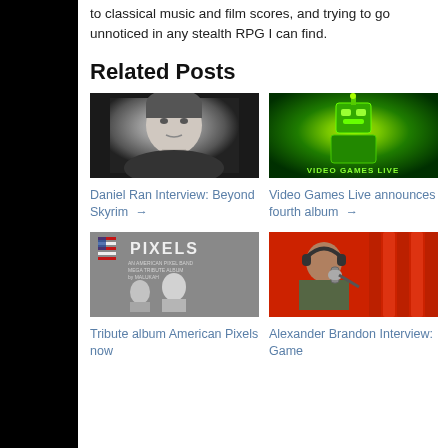to classical music and film scores, and trying to go unnoticed in any stealth RPG I can find.
Related Posts
[Figure (photo): Black and white portrait photo of a man]
Daniel Ran Interview: Beyond Skyrim →
[Figure (photo): Video Games Live logo with green alien robot pixel art on dark background with text 'VIDEO GAMES LIVE']
Video Games Live announces fourth album →
[Figure (photo): Pixels album cover - An American Pixel Band Mega Tribute Album by Malukah, with black and white illustration]
Tribute album American Pixels now
[Figure (photo): Man with headphones speaking into microphone in orange recording studio]
Alexander Brandon Interview: Game